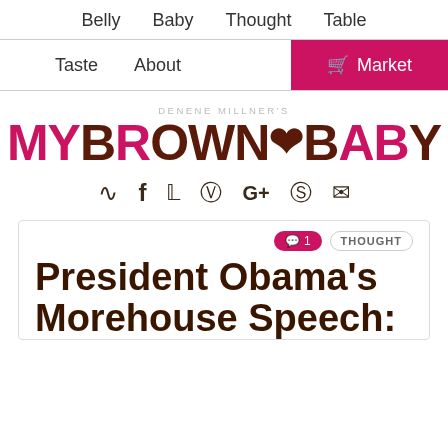Belly  Baby  Thought  Table
Taste  About  🛒 Market
[Figure (logo): Denene Millner's MyBrownBaby logo with social icons (RSS, Facebook, Twitter, Instagram, Google+, Pinterest, Email)]
President Obama's Morehouse Speech: